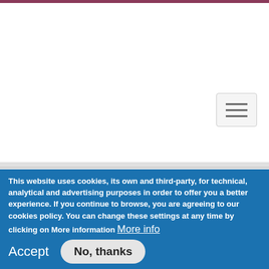[Figure (screenshot): Website header area with maroon top bar and white background, hamburger menu button in top right]
[Figure (photo): Activity Report 2016 document thumbnail alongside two grey placeholder panels]
[Figure (other): Grey panel with text: INTERNATIONAL DECLARATION / DÉCLARATION INTERNATIONALE / DECLARACIÓN INTERNACIONAL]
This website uses cookies, its own and third-party, for technical, analytical and advertising purposes in order to offer you a better experience. If you continue to browse, you are agreeing to our cookies policy. You can change these settings at any time by clicking on More information More info
Accept
No, thanks